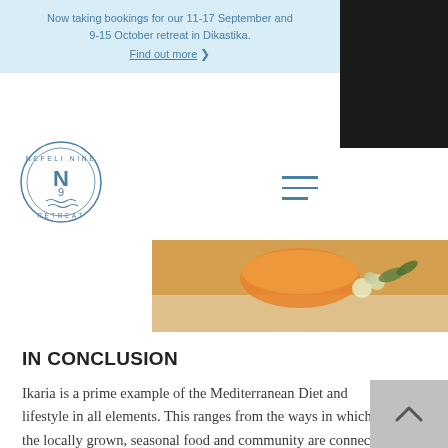Now taking bookings for our 11-17 September and 9-15 October retreat in Dikastika. Find out more >
[Figure (logo): Nefeli Nine Retreat circular logo with N9 in center and wave motif]
[Figure (photo): Close-up photo of food/drink item with flowers, warm orange tones]
IN CONCLUSION
Ikaria is a prime example of the Mediterranean Diet and lifestyle in all elements. This ranges from the ways in which the locally grown, seasonal food and community are connected in a manner that supports both physical and emotional health. The result of this is that many people on the island of Ikaria live a